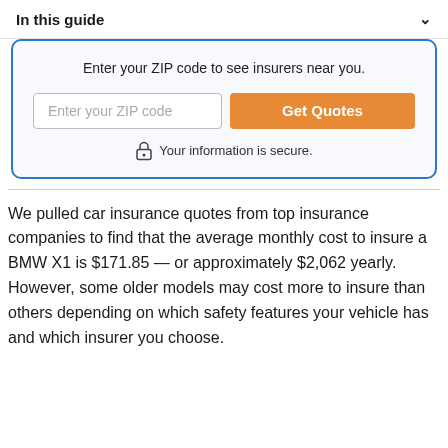In this guide
Enter your ZIP code to see insurers near you.
Your information is secure.
We pulled car insurance quotes from top insurance companies to find that the average monthly cost to insure a BMW X1 is $171.85 — or approximately $2,062 yearly. However, some older models may cost more to insure than others depending on which safety features your vehicle has and which insurer you choose.